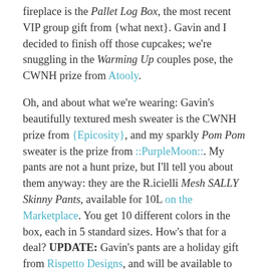fireplace is the Pallet Log Box, the most recent VIP group gift from {what next}. Gavin and I decided to finish off those cupcakes; we're snuggling in the Warming Up couples pose, the CWNH prize from Atooly.
Oh, and about what we're wearing: Gavin's beautifully textured mesh sweater is the CWNH prize from {Epicosity}, and my sparkly Pom Pom sweater is the prize from ::PurpleMoon::. My pants are not a hunt prize, but I'll tell you about them anyway: they are the R.icielli Mesh SALLY Skinny Pants, available for 10L on the Marketplace. You get 10 different colors in the box, each in 5 standard sizes. How's that for a deal? UPDATE: Gavin's pants are a holiday gift from Rispetto Designs, and will be available to group members until approximately February 1st (50L to join); look for the boxes under the Christmas tree. We're both wearing free skins; Gavin's is part of the latest group gift from -Belleza- (250L to join), and mine is [ROCKBERRY]'s free gift at FabFree Headquarters.